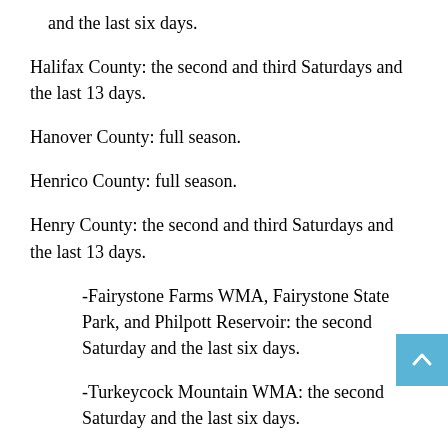…[County]: The second and third Saturdays and the last six days.
Halifax County: the second and third Saturdays and the last 13 days.
Hanover County: full season.
Henrico County: full season.
Henry County: the second and third Saturdays and the last 13 days.
-Fairystone Farms WMA, Fairystone State Park, and Philpott Reservoir: the second Saturday and the last six days.
-Turkeycock Mountain WMA: the second Saturday and the last six days.
Highland County: the second Saturday and the last day.
-National forest lands: the last day.